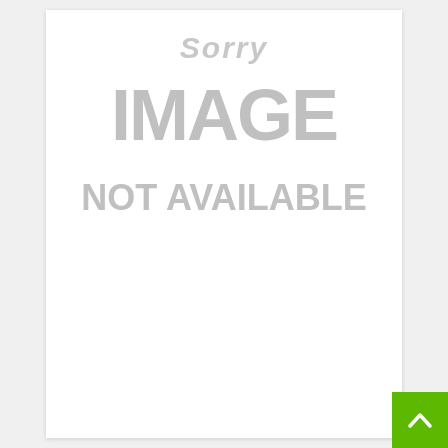[Figure (other): Gray placeholder image with text 'Sorry IMAGE NOT AVAILABLE' on a white card background. A green button with an upward arrow chevron is in the bottom-right corner.]